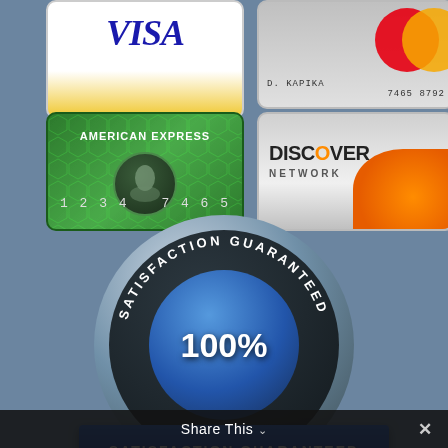[Figure (illustration): Four payment method credit/debit card logos: Visa (top-left), Mastercard with D. KAPIKA / 7465 8792 (top-right), American Express 1234 7465 (bottom-left), Discover Network (bottom-right)]
[Figure (illustration): Satisfaction Guaranteed badge/seal: circular dark badge with curved text 'SATISFACTION GUARANTEED', large '100%' in center blue circle, blue ribbon banner below reading 'SATISFACTION GUARANTEED']
Share This ∨
✕